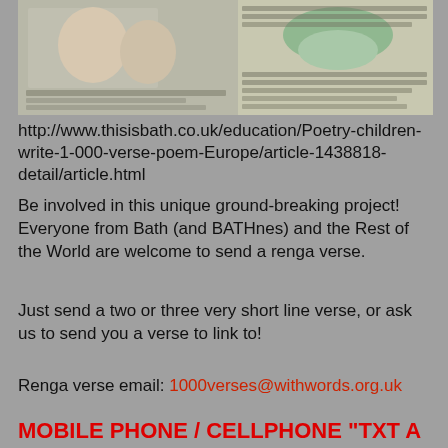[Figure (photo): Newspaper clipping showing children and article about poetry/renga project]
http://www.thisisbath.co.uk/education/Poetry-children-write-1-000-verse-poem-Europe/article-1438818-detail/article.html
Be involved in this unique ground-breaking project! Everyone from Bath (and BATHnes) and the Rest of the World are welcome to send a renga verse.
Just send a two or three very short line verse, or ask us to send you a verse to link to!
Renga verse email: 1000verses@withwords.org.uk
MOBILE PHONE / CELLPHONE "TXT A RENGA!"
Txt a Renga Verse: 07797 806 545
with RENGA followed by the verse and your name (first or full) and location
txt from outside the U.K.?